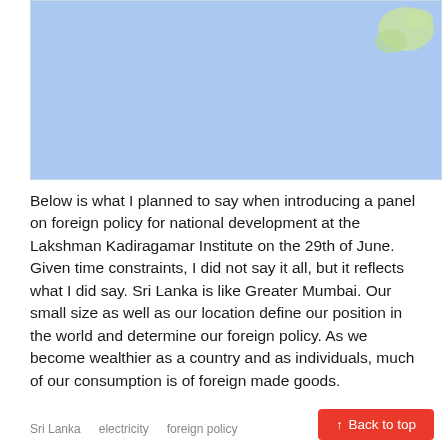[Figure (map): A light blue map image showing ocean/sea with a small land mass visible in the upper right corner, likely depicting Sri Lanka and surrounding waters.]
Below is what I planned to say when introducing a panel on foreign policy for national development at the Lakshman Kadiragamar Institute on the 29th of June. Given time constraints, I did not say it all, but it reflects what I did say. Sri Lanka is like Greater Mumbai. Our small size as well as our location define our position in the world and determine our foreign policy. As we become wealthier as a country and as individuals, much of our consumption is of foreign made goods.
Sri Lanka   electricity   foreign policy